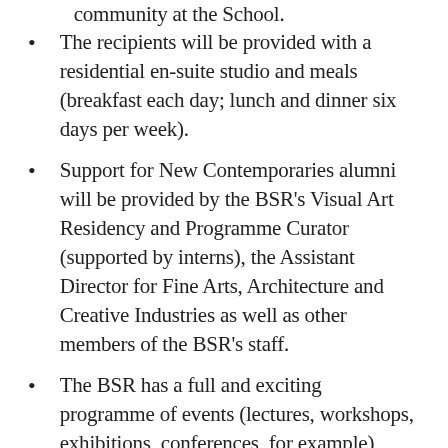community at the School.
The recipients will be provided with a residential en-suite studio and meals (breakfast each day; lunch and dinner six days per week).
Support for New Contemporaries alumni will be provided by the BSR's Visual Art Residency and Programme Curator (supported by interns), the Assistant Director for Fine Arts, Architecture and Creative Industries as well as other members of the BSR's staff.
The BSR has a full and exciting programme of events (lectures, workshops, exhibitions, conferences, for example), which all award-holders are